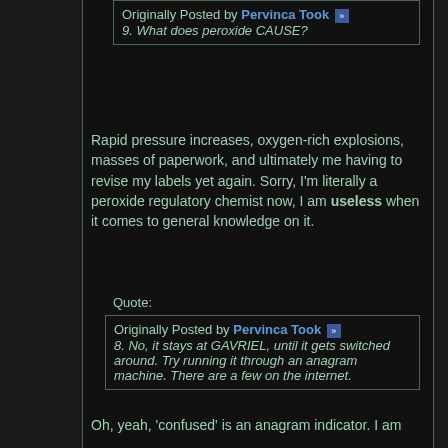Originally Posted by Pervinca Took
9. What does peroxide CAUSE?
Rapid pressure increases, oxygen-rich explosions, masses of paperwork, and ultimately me having to revise my labels yet again. Sorry, I'm literally a peroxide regulatory chemist now, I am useless when it comes to general knowledge on it.
Quote:
Originally Posted by Pervinca Took
8. No, it stays at GAVRIEL, until it gets switched around. Try running it through an anagram machine. There are a few on the internet.
Oh, yeah, 'confused' is an anagram indicator. I am